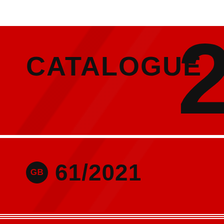[Figure (illustration): Cover page of a catalogue showing 'CATALOGUE 20' (partially visible year) on a red background with diagonal sheen, and 'GB 61/2021' on a second red banner below]
CATALOGUE 20...
GB 61/2021